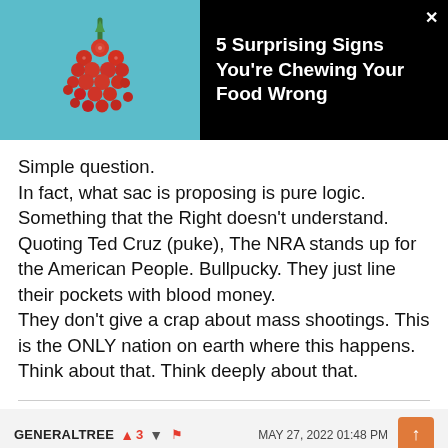[Figure (infographic): Advertisement banner showing a red berry cluster on teal background with text '5 Surprising Signs You're Chewing Your Food Wrong' on black background, with a close X button]
Simple question.
In fact, what sac is proposing is pure logic. Something that the Right doesn't understand. Quoting Ted Cruz (puke), The NRA stands up for the American People. Bullpucky. They just line their pockets with blood money.
They don't give a crap about mass shootings. This is the ONLY nation on earth where this happens. Think about that. Think deeply about that.
GENERALTREE  ▲3  ▼  ⚑  MAY 27, 2022 01:48 PM